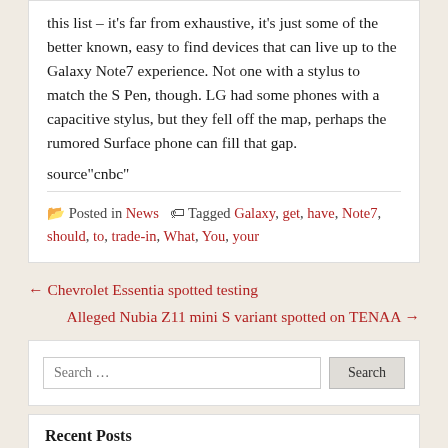this list – it's far from exhaustive, it's just some of the better known, easy to find devices that can live up to the Galaxy Note7 experience. Not one with a stylus to match the S Pen, though. LG had some phones with a capacitive stylus, but they fell off the map, perhaps the rumored Surface phone can fill that gap.
source"cnbc"
Posted in News   Tagged Galaxy, get, have, Note7, should, to, trade-in, What, You, your
← Chevrolet Essentia spotted testing
Alleged Nubia Z11 mini S variant spotted on TENAA →
Search ...
Recent Posts